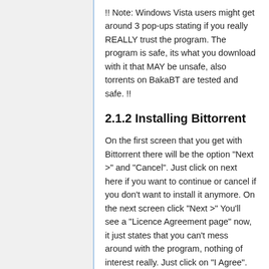!! Note: Windows Vista users might get around 3 pop-ups stating if you really REALLY trust the program. The program is safe, its what you download with it that MAY be unsafe, also torrents on BakaBT are tested and safe. !!
2.1.2 Installing Bittorrent
On the first screen that you get with Bittorrent there will be the option "Next >" and "Cancel". Just click on next here if you want to continue or cancel if you don't want to install it anymore. On the next screen click "Next >" You'll see a "Licence Agreement page" now, it just states that you can't mess around with the program, nothing of interest really. Just click on "I Agree".
Now you'll see a page in which the